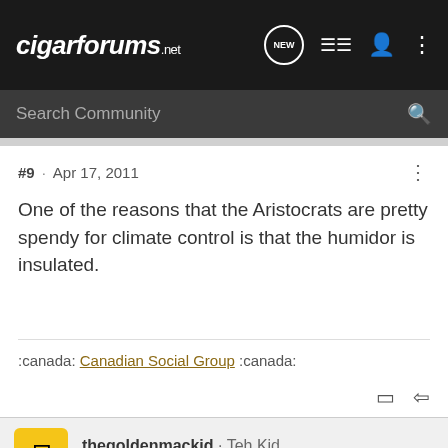cigarforums.net
#9 · Apr 17, 2011
One of the reasons that the Aristocrats are pretty spendy for climate control is that the humidor is insulated.
:canada: Canadian Social Group :canada:
thegoldenmackid · Teh Kid
Joined Mar 16, 2010 · 3,100 Posts